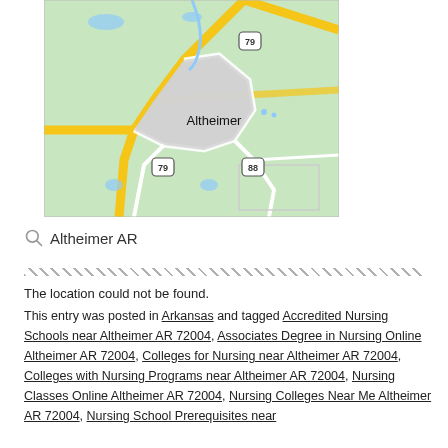[Figure (map): Map of Altheimer, Arkansas showing highway 79 and highway 88 intersections with town area highlighted in grey, surrounded by green rural area with yellow roads.]
Altheimer AR
The location could not be found.
This entry was posted in Arkansas and tagged Accredited Nursing Schools near Altheimer AR 72004, Associates Degree in Nursing Online Altheimer AR 72004, Colleges for Nursing near Altheimer AR 72004, Colleges with Nursing Programs near Altheimer AR 72004, Nursing Classes Online Altheimer AR 72004, Nursing Colleges Near Me Altheimer AR 72004, Nursing School Prerequisites near